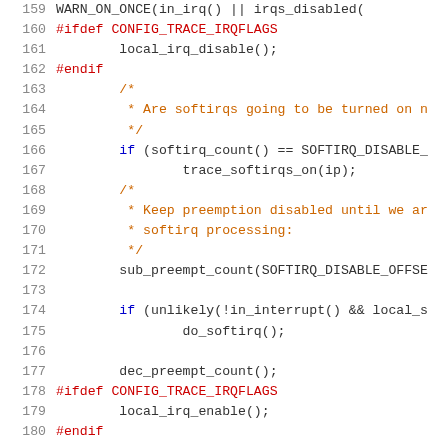[Figure (screenshot): Source code listing showing lines 159-180 of a Linux kernel C file with syntax highlighting. Lines include preprocessor directives in red, comments in orange, and code in dark gray/black on white background.]